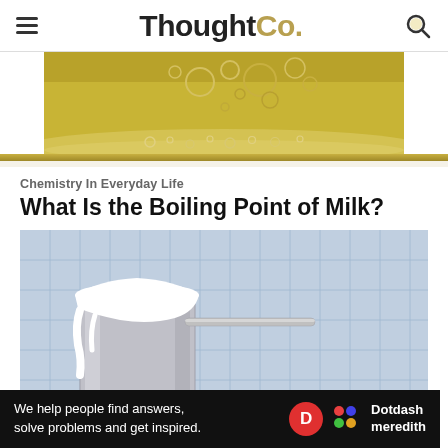ThoughtCo.
[Figure (photo): Close-up overhead view of boiling golden/yellow liquid with bubbles in a pot]
[Figure (other): Gold decorative stripe divider]
Chemistry In Everyday Life
What Is the Boiling Point of Milk?
[Figure (photo): Photo of milk boiling over the edge of a metallic cup with a spoon, on a blue checked background]
We help people find answers, solve problems and get inspired.
[Figure (logo): Dotdash Meredith logo with red D circle and colorful dots icon]